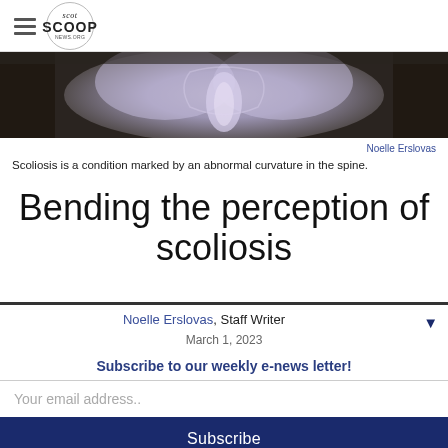Scot Scoop News
[Figure (photo): X-ray image of a human spine/pelvis showing scoliosis curvature, purple-tinted]
Noelle Erslovas
Scoliosis is a condition marked by an abnormal curvature in the spine.
Bending the perception of scoliosis
Noelle Erslovas, Staff Writer
Subscribe to our weekly e-news letter!
Your email address..
Subscribe